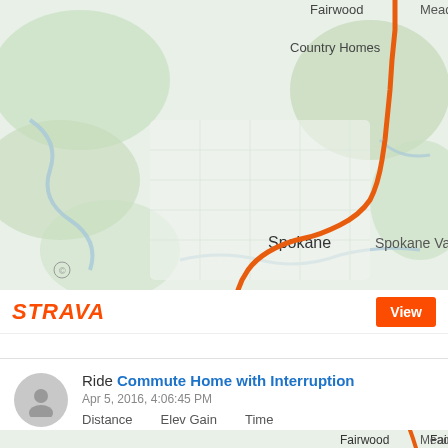[Figure (map): Strava route map showing a bike ride route through Spokane area (Fairwood, Mead, Country Homes, Spokane, Spokane Valley) with an orange route line running north-south]
STRAVA
View
Ride Commute Home with Interruption
Apr 5, 2016, 4:06:45 PM
Distance   Elev Gain   Time
12.3 mi   503 ft   52m 32s
[Figure (map): Strava route map (bottom, cropped) showing Fairwood and Mead area with beginning of orange route line]